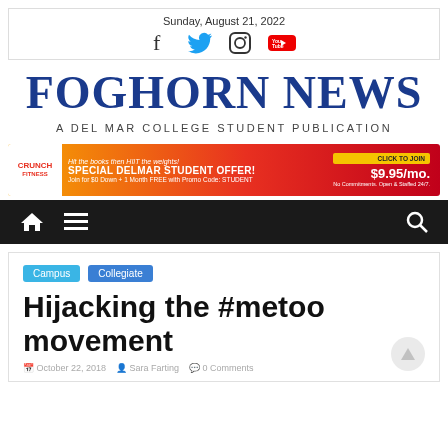Sunday, August 21, 2022
FOGHORN NEWS
A DEL MAR COLLEGE STUDENT PUBLICATION
[Figure (infographic): Crunch Fitness advertisement banner: Special Delmar Student Offer - $9.95/mo, Join for $0 Down + 1 Month FREE with Promo Code: STUDENT]
[Figure (infographic): Navigation bar with home icon, hamburger menu icon, and search icon on dark background]
Campus  Collegiate
Hijacking the #metoo movement